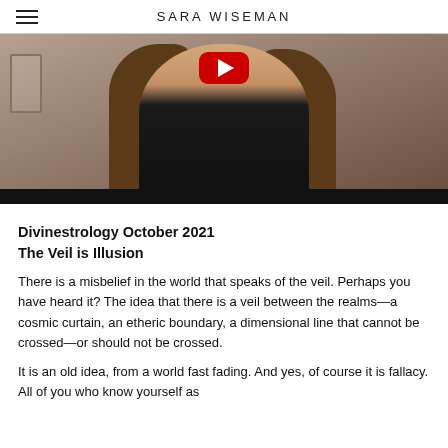SARA WISEMAN
[Figure (photo): Video thumbnail showing a woman with long brown hair wearing a black top, with a red YouTube play button overlay visible at top center, and a black bar at the bottom of the image.]
Divinestrology October 2021
The Veil is Illusion
There is a misbelief in the world that speaks of the veil. Perhaps you have heard it? The idea that there is a veil between the realms—a cosmic curtain, an etheric boundary, a dimensional line that cannot be crossed—or should not be crossed.
It is an old idea, from a world fast fading. And yes, of course it is fallacy. All of you who know yourself as